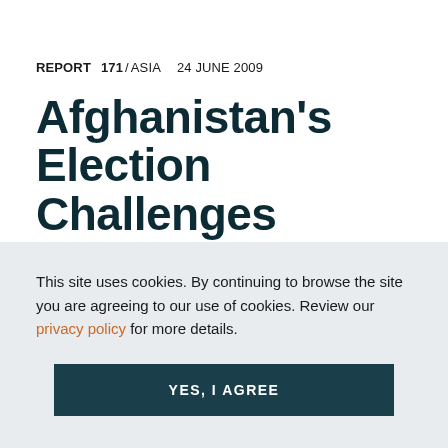REPORT  171 / ASIA  24 JUNE 2009
Afghanistan’s Election Challenges
Afghanistan’s forthcoming elections, with
This site uses cookies. By continuing to browse the site you are agreeing to our use of cookies. Review our privacy policy for more details.
YES, I AGREE